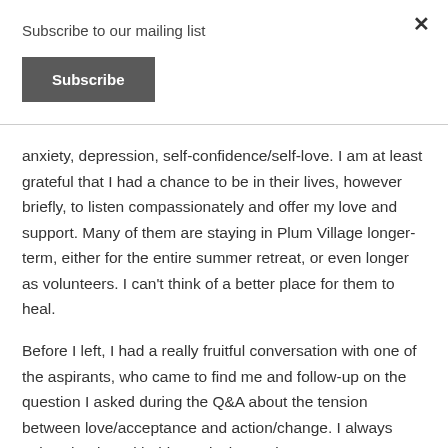Subscribe to our mailing list
Subscribe
anxiety, depression, self-confidence/self-love. I am at least grateful that I had a chance to be in their lives, however briefly, to listen compassionately and offer my love and support. Many of them are staying in Plum Village longer-term, either for the entire summer retreat, or even longer as volunteers. I can't think of a better place for them to heal.
Before I left, I had a really fruitful conversation with one of the aspirants, who came to find me and follow-up on the question I asked during the Q&A about the tension between love/acceptance and action/change. I always enjoy chatting with this particular aspirant